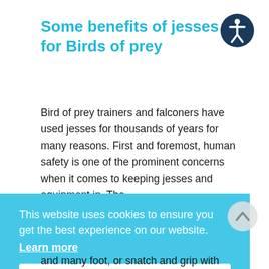Some benefits of jesses for Birds of prey
[Figure (illustration): Accessibility icon: dark navy circle with white stick figure person inside]
Bird of prey trainers and falconers have used jesses for thousands of years for many reasons. First and foremost, human safety is one of the prominent concerns when it comes to keeping jesses and equipment in. The
This website uses cookies to ensure you get the best experience on our website.
Learn more
Got it!
and many foot, or snatch and grip with